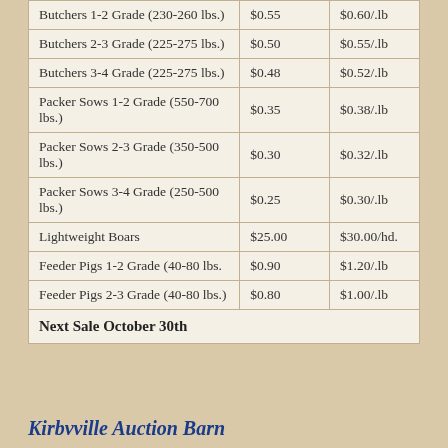| Category | Low | High |
| --- | --- | --- |
| Butchers 1-2 Grade (230-260 lbs.) | $0.55 | $0.60/.lb |
| Butchers 2-3 Grade (225-275 lbs.) | $0.50 | $0.55/.lb |
| Butchers 3-4 Grade (225-275 lbs.) | $0.48 | $0.52/.lb |
| Packer Sows 1-2 Grade (550-700 lbs.) | $0.35 | $0.38/.lb |
| Packer Sows 2-3 Grade (350-500 lbs.) | $0.30 | $0.32/.lb |
| Packer Sows 3-4 Grade (250-500 lbs.) | $0.25 | $0.30/.lb |
| Lightweight Boars | $25.00 | $30.00/hd. |
| Feeder Pigs 1-2 Grade (40-80 lbs. | $0.90 | $1.20/.lb |
| Feeder Pigs 2-3 Grade (40-80 lbs.) | $0.80 | $1.00/.lb |
| Next Sale October 30th |  |  |
Kirbvville Auction Barn